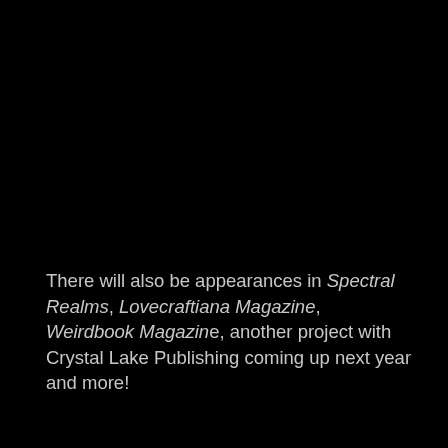There will also be appearances in Spectral Realms, Lovecraftiana Magazine, Weirdbook Magazine, another project with Crystal Lake Publishing coming up next year and more!